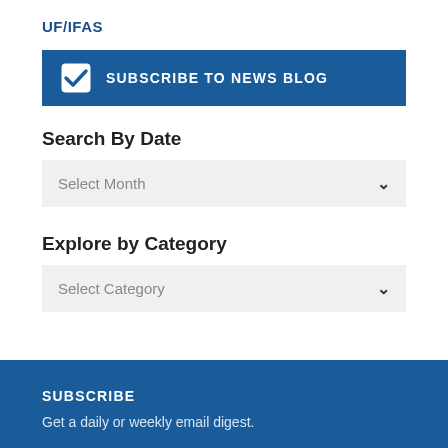UF/IFAS
SUBSCRIBE TO NEWS BLOG
Search By Date
Select Month
Explore by Category
Select Category
SUBSCRIBE
Get a daily or weekly email digest.